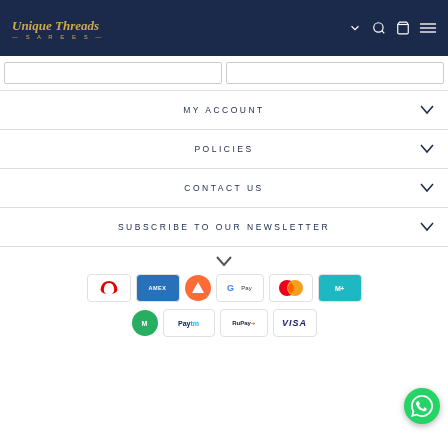Unique Threads Sarees
MY ACCOUNT
POLICIES
CONTACT US
SUBSCRIBE TO OUR NEWSLETTER
[Figure (other): Payment method icons: Airtel, AMEX, Freecharge, Google Pay, Mastercard, MobiKwik, MobiKwik (green), Paytm, RuPay, Visa]
[Figure (logo): WhatsApp contact button (green circle with phone icon)]